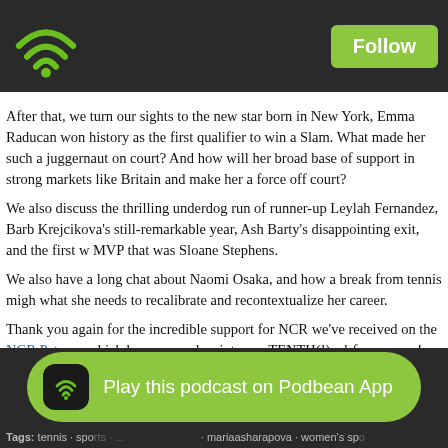Follow
After that, we turn our sights to the new star born in New York, Emma Raducan won history as the first qualifier to win a Slam. What made her such a juggernaut on court? And how will her broad base of support in strong markets like Britain and make her a force off court?
We also discuss the thrilling underdog run of runner-up Leylah Fernandez, Barb Krejcikova's still-remarkable year, Ash Barty's disappointing exit, and the first w MVP that was Sloane Stephens.
We also have a long chat about Naomi Osaka, and how a break from tennis migh what she needs to recalibrate and recontextualize her career.
Thank you again for the incredible support for NCR we've received on the NCR Patreon which has powered us into our TENTH(!) ad-free season! Please consid joining in as we bring you the best shows we can this year! And thank you to the listeners who have already given their support! (And thank you to G.O.A.T. bac O'D, Pam Shriv... and Nicole Gooden!).
[Figure (other): Play this podcast on Podbean App button]
Tags: tennis · sports · ...